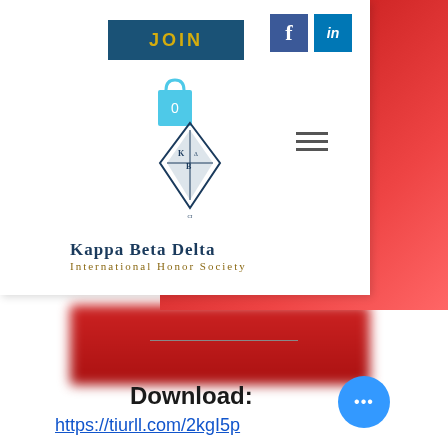[Figure (screenshot): Screenshot of Kappa Beta Delta International Honor Society website navigation header showing JOIN button, Facebook and LinkedIn social icons, shopping bag icon with 0, hamburger menu, and KBD diamond logo with organization name]
Download:
https://tiurll.com/2kgI5p